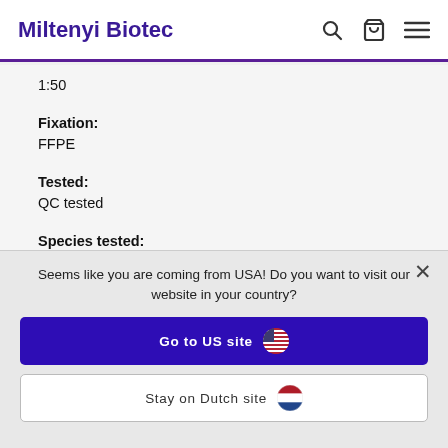Miltenyi Biotec
1:50
Fixation:
FFPE
Tested:
QC tested
Species tested:
human
Seems like you are coming from USA! Do you want to visit our website in your country?
Go to US site
Stay on Dutch site